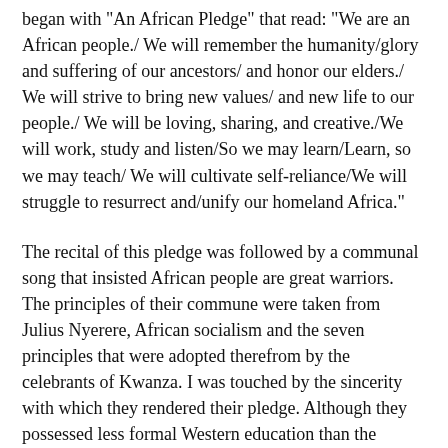began with 'An African Pledge' that read: 'We are an African people./ We will remember the humanity/glory and suffering of our ancestors/ and honor our elders./ We will strive to bring new values/ and new life to our people./ We will be loving, sharing, and creative./We will work, study and listen/So we may learn/Learn, so we may teach/ We will cultivate self-reliance/We will struggle to resurrect and/unify our homeland Africa.'
The recital of this pledge was followed by a communal song that insisted African people are great warriors. The principles of their commune were taken from Julius Nyerere, African socialism and the seven principles that were adopted therefrom by the celebrants of Kwanza. I was touched by the sincerity with which they rendered their pledge. Although they possessed less formal Western education than the people of T&T, they understood they must subscribe to ethical principles before they can achieve anything worthwhile.